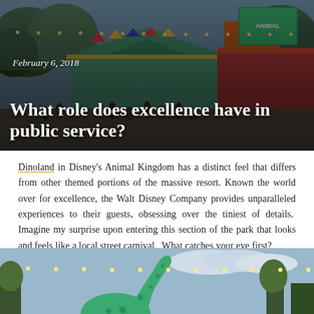[Figure (photo): Aerial view of Dinoland in Disney's Animal Kingdom, showing colorful carnival-style buildings with teal roofs, red and yellow accents, string lights, and crowds of visitors walking in the park. Text overlay shows date and article title.]
February 6, 2018
What role does excellence have in public service?
Dinoland in Disney's Animal Kingdom has a distinct feel that differs from other themed portions of the massive resort. Known the world over for excellence, the Walt Disney Company provides unparalleled experiences to their guests, obsessing over the tiniest of details.  Imagine my surprise upon entering this section of the park that looks and feels like a local street carnival.  What catches your eye first?
[Figure (photo): Bottom portion of a photo showing a large dinosaur topiary or sculpture (green brachiosaurus) against a partly cloudy sky, with string lights and trees in the background.]